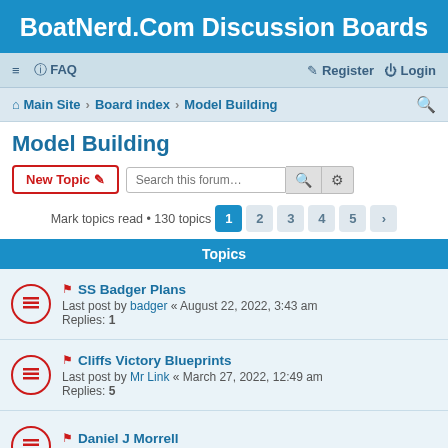BoatNerd.Com Discussion Boards
≡  FAQ    Register  Login
Main Site · Board index · Model Building
Model Building
New Topic  Search this forum…
Mark topics read • 130 topics  1 2 3 4 5 >
Topics
SS Badger Plans
Last post by badger « August 22, 2022, 3:43 am
Replies: 1
Cliffs Victory Blueprints
Last post by Mr Link « March 27, 2022, 12:49 am
Replies: 5
Daniel J Morrell
Last post by Modeler Dave « January 14, 2022, 11:18 am
state class tug blueprints
Last post by Guest « August 8, 2021, 5:16 pm
Morgan and Lamont class plans